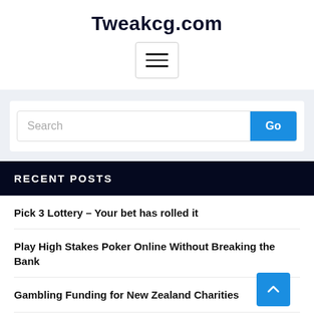Tweakcg.com
[Figure (other): Hamburger menu button icon with three horizontal lines]
[Figure (screenshot): Search bar with text input placeholder 'Search' and a blue 'Go' button]
RECENT POSTS
Pick 3 Lottery – Your bet has rolled it
Play High Stakes Poker Online Without Breaking the Bank
Gambling Funding for New Zealand Charities
USA Worried About Online Gambling Popularity